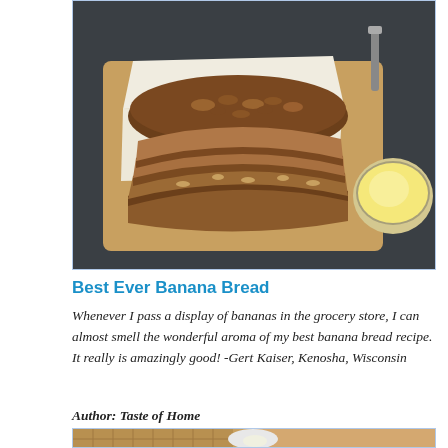[Figure (photo): Sliced banana bread with nuts on a wooden cutting board with parchment paper, next to a small bowl of cream or butter, on a dark background]
Best Ever Banana Bread
Whenever I pass a display of bananas in the grocery store, I can almost smell the wonderful aroma of my best banana bread recipe. It really is amazingly good! -Gert Kaiser, Kenosha, Wisconsin
Author: Taste of Home
[Figure (photo): Waffles on a plate with a small bowl, partially visible at bottom of page]